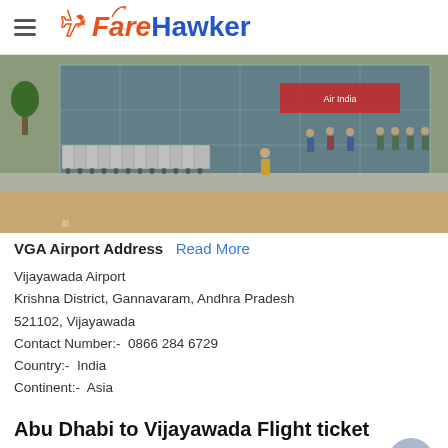FareHawker
[Figure (photo): Vijayawada Airport exterior with luggage carts lined up and people standing near a glass-facade terminal building]
VGA Airport Address Read More
Vijayawada Airport
Krishna District, Gannavaram, Andhra Pradesh
521102, Vijayawada
Contact Number:-  0866 284 6729
Country:-  India
Continent:-  Asia
Abu Dhabi to Vijayawada Flight ticket Booking on Vistara Airlines FAQ's